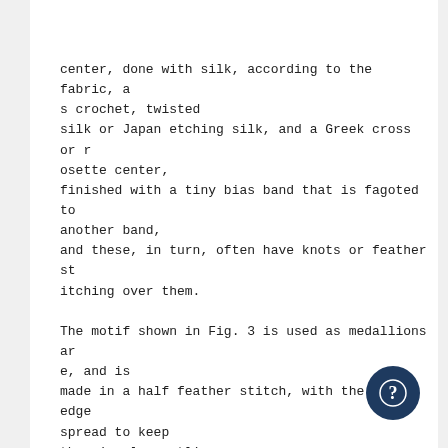center, done with silk, according to the fabric, as crochet, twisted
silk or Japan etching silk, and a Greek cross or rosette center,
finished with a tiny bias band that is fagoted to another band,
and these, in turn, often have knots or feather stitching over them.

The motif shown in Fig. 3 is used as medallions are, and is
made in a half feather stitch, with the outer edge spread to keep
the circular outline,
using crochet silk
which spreads a trifle
when worked. Fig.
4 gives a method of
scalloping edges with
the ordinary button-
hole stitch, padding
with a few short un-